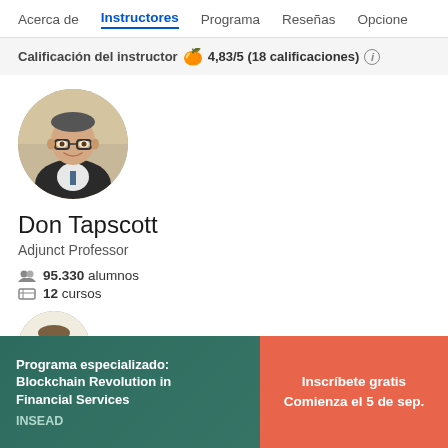Acerca de  Instructores  Programa  Reseñas  Opcione
Calificación del instructor 👍 4,83/5 (18 calificaciones) ℹ
[Figure (photo): Circular profile photo of Don Tapscott, a man wearing glasses and a dark suit, smiling]
Don Tapscott
Adjunct Professor
95.330 alumnos
12 cursos
[Figure (photo): Partial circular profile photo of a second instructor, partially visible at the bottom]
Programa especializado: Blockchain Revolution in Financial Services
INSEAD
Inscríbete gratis
Comienza el 5 de sep.